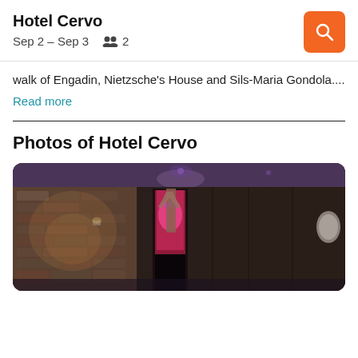Hotel Cervo
Sep 2 – Sep 3    👥 2
walk of Engadin, Nietzsche's House and Sils-Maria Gondola....
Read more
Photos of Hotel Cervo
[Figure (photo): Interior photo of Hotel Cervo spa/sauna area with dark wood paneling, stone-textured wall with warm lighting, a hanging robe, and a glowing magenta/pink light through a glass door. Purple ambient lighting on the ceiling.]